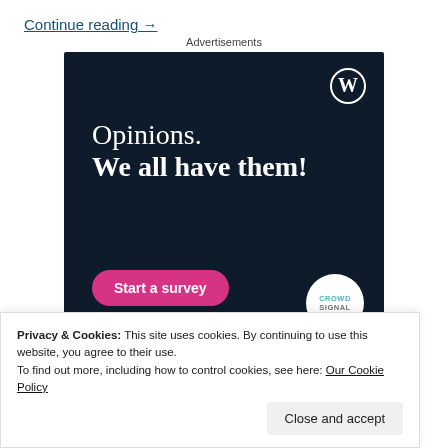Continue reading →
Advertisements
[Figure (other): WordPress/Crowdsignal advertisement banner with dark navy background showing 'Opinions. We all have them!' text, a WordPress logo, a pink 'Start a survey' button, and Crowdsignal circular logo.]
Privacy & Cookies: This site uses cookies. By continuing to use this website, you agree to their use.
To find out more, including how to control cookies, see here: Our Cookie Policy
Close and accept